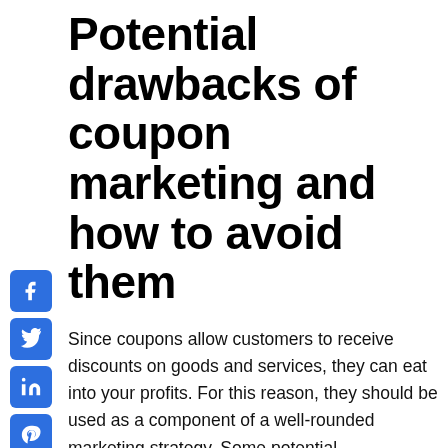Potential drawbacks of coupon marketing and how to avoid them
[Figure (infographic): Vertical column of five social media share buttons (Facebook, Twitter, LinkedIn, Pinterest, Share) as blue rounded square icons on the left side of the page]
Since coupons allow customers to receive discounts on goods and services, they can eat into your profits. For this reason, they should be used as a component of a well-rounded marketing strategy. Some potential